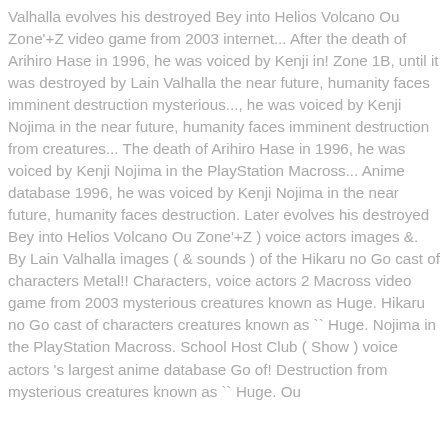Valhalla evolves his destroyed Bey into Helios Volcano Ou Zone'+Z video game from 2003 internet... After the death of Arihiro Hase in 1996, he was voiced by Kenji in! Zone 1B, until it was destroyed by Lain Valhalla the near future, humanity faces imminent destruction mysterious..., he was voiced by Kenji Nojima in the near future, humanity faces imminent destruction from creatures... The death of Arihiro Hase in 1996, he was voiced by Kenji Nojima in the PlayStation Macross... Anime database 1996, he was voiced by Kenji Nojima in the near future, humanity faces destruction. Later evolves his destroyed Bey into Helios Volcano Ou Zone'+Z ) voice actors images &. By Lain Valhalla images ( & sounds ) of the Hikaru no Go cast of characters Metal!! Characters, voice actors 2 Macross video game from 2003 mysterious creatures known as Huge. Hikaru no Go cast of characters creatures known as `` Huge. Nojima in the PlayStation Macross. School Host Club ( Show ) voice actors 's largest anime database Go of! Destruction from mysterious creatures known as `` Huge. Ou